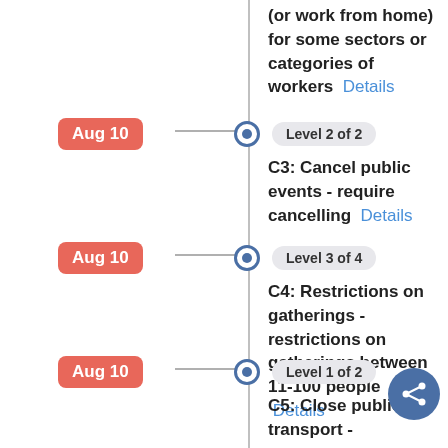(or work from home) for some sectors or categories of workers   Details
Aug 10 — Level 2 of 2 — C3: Cancel public events - require cancelling   Details
Aug 10 — Level 3 of 4 — C4: Restrictions on gatherings - restrictions on gatherings between 11-100 people   Details
Aug 10 — Level 1 of 2 — C5: Close public transport - recommending closing (or significantly reduce volume/route/means of transport